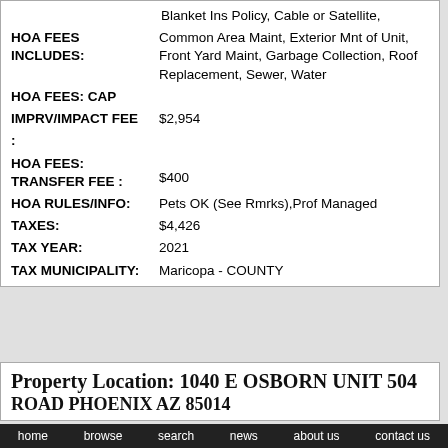Blanket Ins Policy, Cable or Satellite,
HOA FEES INCLUDES: Common Area Maint, Exterior Mnt of Unit, Front Yard Maint, Garbage Collection, Roof Replacement, Sewer, Water
HOA FEES: CAP
IMPRV/IMPACT FEE: $2,954
:
HOA FEES: TRANSFER FEE: $400
HOA RULES/INFO: Pets OK (See Rmrks),Prof Managed
TAXES: $4,426
TAX YEAR: 2021
TAX MUNICIPALITY: Maricopa - COUNTY
Property Location: 1040 E OSBORN UNIT 504
ROAD PHOENIX AZ 85014
home   browse   search   news   about us   contact us